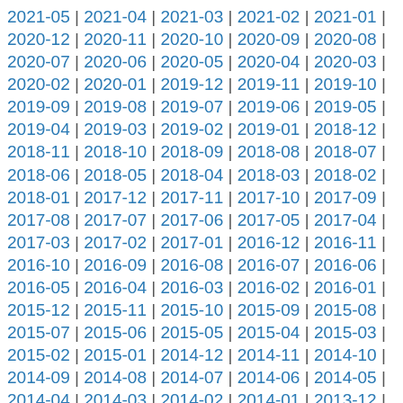2021-05 | 2021-04 | 2021-03 | 2021-02 | 2021-01 |
2020-12 | 2020-11 | 2020-10 | 2020-09 | 2020-08 |
2020-07 | 2020-06 | 2020-05 | 2020-04 | 2020-03 |
2020-02 | 2020-01 | 2019-12 | 2019-11 | 2019-10 |
2019-09 | 2019-08 | 2019-07 | 2019-06 | 2019-05 |
2019-04 | 2019-03 | 2019-02 | 2019-01 | 2018-12 |
2018-11 | 2018-10 | 2018-09 | 2018-08 | 2018-07 |
2018-06 | 2018-05 | 2018-04 | 2018-03 | 2018-02 |
2018-01 | 2017-12 | 2017-11 | 2017-10 | 2017-09 |
2017-08 | 2017-07 | 2017-06 | 2017-05 | 2017-04 |
2017-03 | 2017-02 | 2017-01 | 2016-12 | 2016-11 |
2016-10 | 2016-09 | 2016-08 | 2016-07 | 2016-06 |
2016-05 | 2016-04 | 2016-03 | 2016-02 | 2016-01 |
2015-12 | 2015-11 | 2015-10 | 2015-09 | 2015-08 |
2015-07 | 2015-06 | 2015-05 | 2015-04 | 2015-03 |
2015-02 | 2015-01 | 2014-12 | 2014-11 | 2014-10 |
2014-09 | 2014-08 | 2014-07 | 2014-06 | 2014-05 |
2014-04 | 2014-03 | 2014-02 | 2014-01 | 2013-12 |
2013-11 | 2013-10 | 2013-09 | 2013-05 | 2013-04